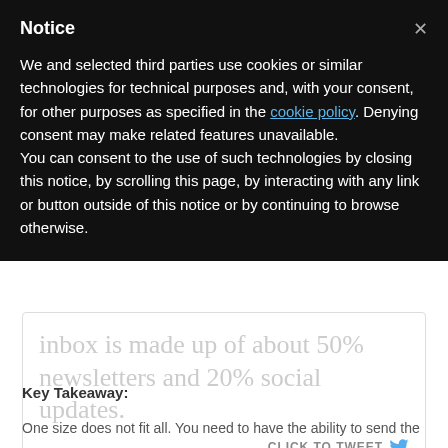[Figure (screenshot): Background content showing a tweet box with text 'inbox is made up of about 50% newsletters and 20% social updates.' and a 'CLICK TO TWEET' button with Twitter bird icon]
Key Takeaway:
One size does not fit all. You need to have the ability to send the
Notice

We and selected third parties use cookies or similar technologies for technical purposes and, with your consent, for other purposes as specified in the cookie policy. Denying consent may make related features unavailable.
You can consent to the use of such technologies by closing this notice, by scrolling this page, by interacting with any link or button outside of this notice or by continuing to browse otherwise.